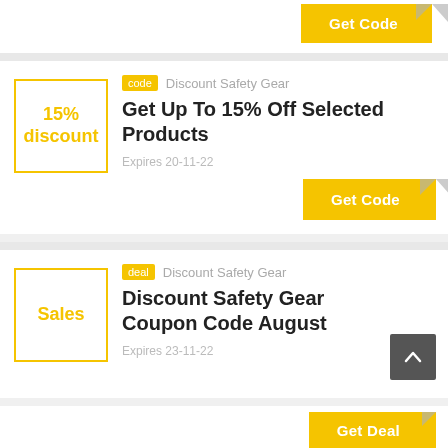[Figure (other): Get Code button with corner fold, top of page (partial card)]
code   Discount Safety Gear
Get Up To 15% Off Selected Products
Expires 20-11-22
[Figure (other): Get Code yellow button with grey corner fold]
deal   Discount Safety Gear
Discount Safety Gear Coupon Code August
Expires 23-11-22
[Figure (other): Get Deal yellow button (partially visible)]